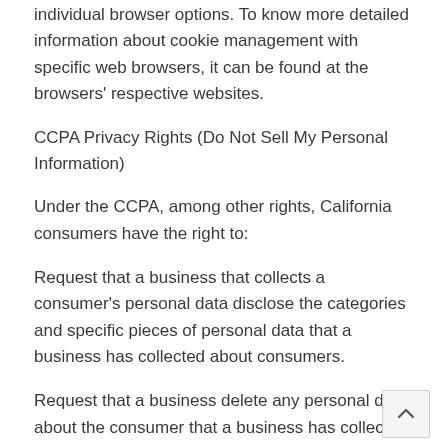individual browser options. To know more detailed information about cookie management with specific web browsers, it can be found at the browsers' respective websites.
CCPA Privacy Rights (Do Not Sell My Personal Information)
Under the CCPA, among other rights, California consumers have the right to:
Request that a business that collects a consumer's personal data disclose the categories and specific pieces of personal data that a business has collected about consumers.
Request that a business delete any personal data about the consumer that a business has collected